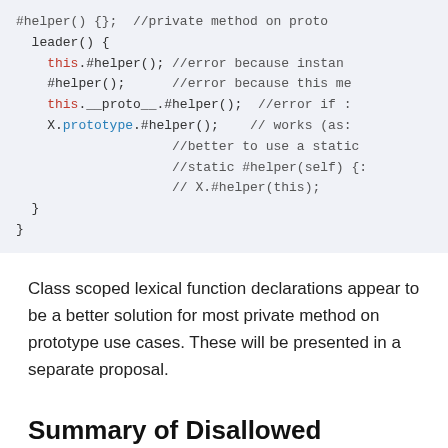#helper() {};  //private method on proto
  leader() {
    this.#helper(); //error because instan
    #helper();      //error because this me
    this.__proto__.#helper();  //error if :
    X.prototype.#helper();    // works (as:
                    //better to use a static
                    //static #helper(self) {:
                    // X.#helper(this);
  }
}
Class scoped lexical function declarations appear to be a better solution for most private method on prototype use cases. These will be presented in a separate proposal.
Summary of Disallowed Member Definitions